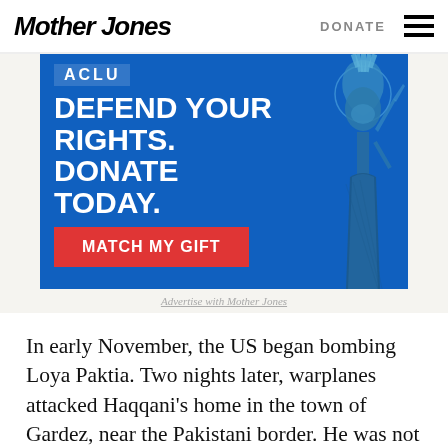Mother Jones | DONATE
[Figure (illustration): ACLU advertisement: blue background with Statue of Liberty illustration, text 'DEFEND YOUR RIGHTS. DONATE TODAY.' with red 'MATCH MY GIFT' button]
Advertise with Mother Jones
In early November, the US began bombing Loya Paktia. Two nights later, warplanes attacked Haqqani's home in the town of Gardez, near the Pakistani border. He was not present, but his